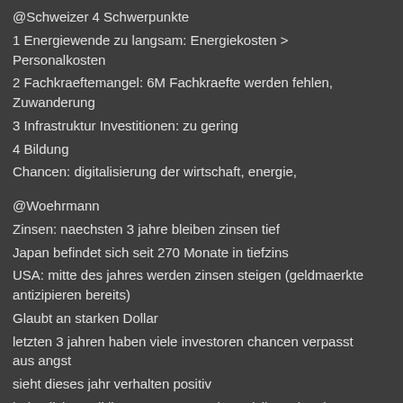@Schweizer 4 Schwerpunkte
1 Energiewende zu langsam: Energiekosten > Personalkosten
2 Fachkraeftemangel: 6M Fachkraefte werden fehlen, Zuwanderung
3 Infrastruktur Investitionen: zu gering
4 Bildung
Chancen: digitalisierung der wirtschaft, energie,
@Woehrmann
Zinsen: naechsten 3 jahre bleiben zinsen tief
Japan befindet sich seit 270 Monate in tiefzins
USA: mitte des jahres werden zinsen steigen (geldmaerkte antizipieren bereits)
Glaubt an starken Dollar
letzten 3 jahren haben viele investoren chancen verpasst aus angst
sieht dieses jahr verhalten positiv
bei nullzins politik muss man staerkere risiken eingehen
@Fratzscher
Wachstum Europa: 1% USA: 2,5%